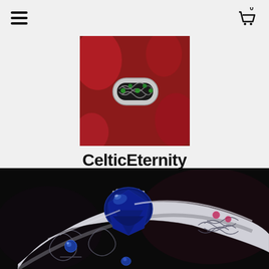Navigation header with hamburger menu and shopping cart icon showing 0 items
[Figure (logo): CelticEternity logo — square photo of a silver Celtic knot ring with green stones on a red background]
CelticEternity
[Figure (photo): Close-up product photo of a silver Celtic knot ring with a large oval blue sapphire center stone and smaller blue sapphire accent stones, set against a dark black background]